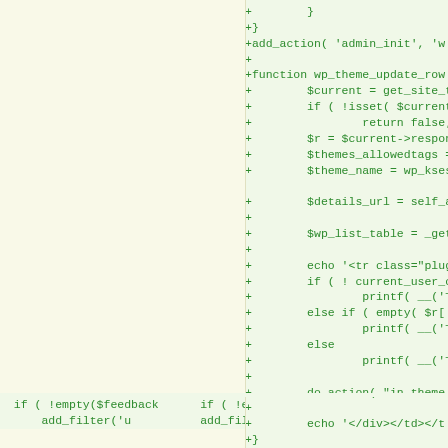[Figure (screenshot): Code diff view showing PHP code additions (green lines with + prefix) for WordPress theme update functions including wp_theme_update_row and wp_update_core, with two columns showing different parts of the diff]